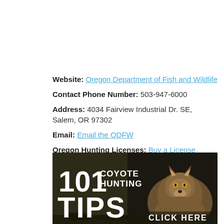Website: Oregon Department of Fish and Wildlife
Contact Phone Number: 503-947-6000
Address: 4034 Fairview Industrial Dr. SE, Salem, OR 97302
Email: Email the ODFW
Oregon Hunting Licenses: Buy a License
[Figure (illustration): Banner advertisement for '101 Coyote Hunting Tips' with a coyote photo and 'CLICK HERE' text on a dark background]